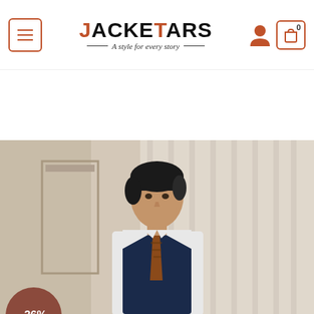[Figure (screenshot): E-commerce website header for JACKETARS with menu button, logo, tagline 'A style for every story', user icon, and cart icon showing 0 items]
[Figure (screenshot): Search bar with 'All' dropdown and 'Search...' placeholder text and orange search button]
Get 15%
[Figure (photo): Man wearing a dark navy vest over a white dress shirt with a patterned orange/brown tie, standing in an elegant room with white curtains. A -36% discount badge appears in the top left corner.]